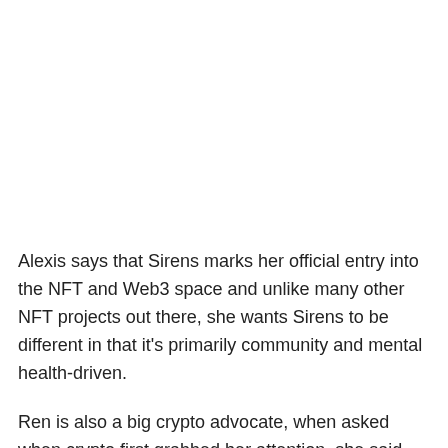Alexis says that Sirens marks her official entry into the NFT and Web3 space and unlike many other NFT projects out there, she wants Sirens to be different in that it's primarily community and mental health-driven.
Ren is also a big crypto advocate, when asked when crypto first grabbed her attention, she said she first heard about it in 2017. At first, she didn't fully digest it, but over time she